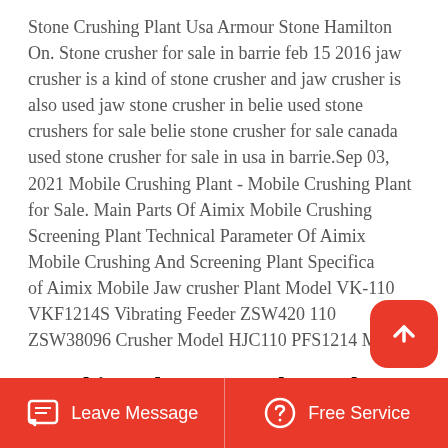Stone Crushing Plant Usa Armour Stone Hamilton On. Stone crusher for sale in barrie feb 15 2016 jaw crusher is a kind of stone crusher and jaw crusher is also used jaw stone crusher in belie used stone crushers for sale belie stone crusher for sale canada used stone crusher for sale in usa in barrie.Sep 03, 2021 Mobile Crushing Plant - Mobile Crushing Plant for Sale. Main Parts Of Aimix Mobile Crushing Screening Plant Technical Parameter Of Aimix Mobile Crushing And Screening Plant Specification of Aimix Mobile Jaw crusher Plant Model VK-110 VKF1214S Vibrating Feeder ZSW420 110 ZSW38096 Crusher Model HJC110 PFS1214 Major.
Crushing Plant For Sale Used Crushing Plant Screening Plant
Leave Message | Free Service